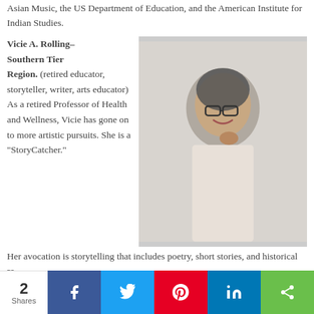Asian Music, the US Department of Education, and the American Institute for Indian Studies.
Vicie A. Rolling–Southern Tier Region. (retired educator, storyteller, writer, arts educator)  As a retired Professor of Health and Wellness, Vicie has gone on to more artistic pursuits. She is a "StoryCatcher." Her avocation is storytelling that includes poetry, short stories, and historical re-
[Figure (photo): Portrait photo of Vicie A. Rolling, an older woman with gray hair and glasses, wearing a white outfit, smiling and posing with her hand near her chin against a light background.]
2 Shares  f  t  P  in  share